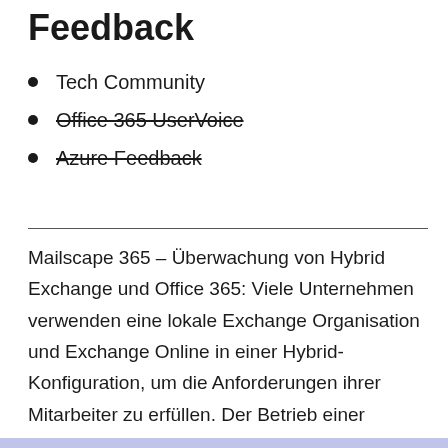Feedback
Tech Community
Office 365 UserVoice
Azure Feedback
Mailscape 365 – Überwachung von Hybrid Exchange und Office 365: Viele Unternehmen verwenden eine lokale Exchange Organisation und Exchange Online in einer Hybrid-Konfiguration, um die Anforderungen ihrer Mitarbeiter zu erfüllen. Der Betrieb einer hybriden Exchange Organisation seine ganz eigenen Herausforderungen für das Monitoring der Dienstverfügbarkeiten. Beginnen Sie noch